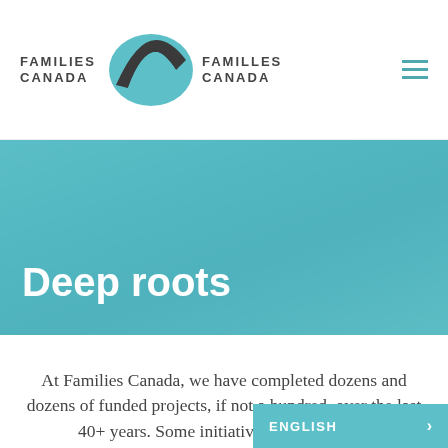[Figure (logo): Families Canada / Familles Canada bilingual logo with teal and dark road/arrow icon]
[Figure (photo): Teal-tinted banner hero image showing hands working at a table with papers; 'Deep roots' title overlaid in white bold text]
Deep roots
At Families Canada, we have completed dozens and dozens of funded projects, if not a hundred, over the last 40+ years. Some initiatives are fairly new (intergenerational progr… some we have been working on for a
ENGLISH >